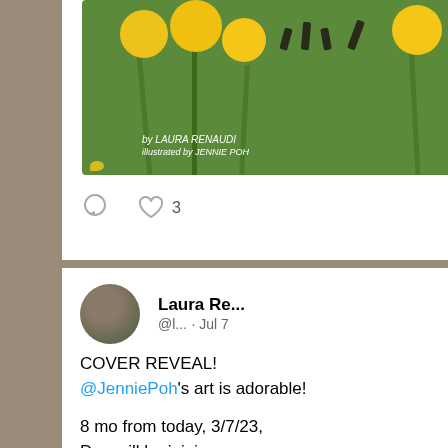[Figure (screenshot): Top portion of a Twitter/social media post showing a book cover for a children's book with daffodils, by Laura Renaudi, illustrated by Jennie Poh, on a green background. Below the image are comment and heart icons with 3 likes.]
[Figure (screenshot): Bottom Twitter post by Laura Re... (@l...) from Jul 7. Tweet reads: COVER REVEAL! @JenniePoh's art is adorable! 8 mo from today, 3/7/23, Doe will be joining Porcupine, Bear, & Squirrel with a story of her own! @BeamingBooksMN Don't miss the friends as they prepare for the Spring Petal Parade.]